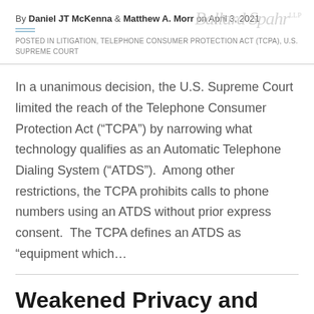By Daniel JT McKenna & Matthew A. Morr on April 3, 2021
POSTED IN LITIGATION, TELEPHONE CONSUMER PROTECTION ACT (TCPA), U.S. SUPREME COURT
In a unanimous decision, the U.S. Supreme Court limited the reach of the Telephone Consumer Protection Act (“TCPA”) by narrowing what technology qualifies as an Automatic Telephone Dialing System (“ATDS”).  Among other restrictions, the TCPA prohibits calls to phone numbers using an ATDS without prior express consent.  The TCPA defines an ATDS as “equipment which…
Weakened Privacy and Information Security Tools—the